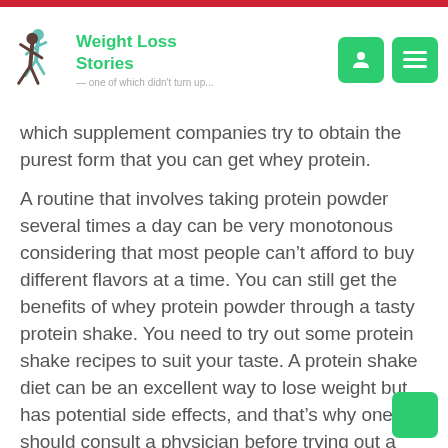Weight Loss Stories
which supplement companies try to obtain the purest form that you can get whey protein.
A routine that involves taking protein powder several times a day can be very monotonous considering that most people can’t afford to buy different flavors at a time. You can still get the benefits of whey protein powder through a tasty protein shake. You need to try out some protein shake recipes to suit your taste. A protein shake diet can be an excellent way to lose weight but has potential side effects, and that’s why one should consult a physician before trying out a weight loss plan.